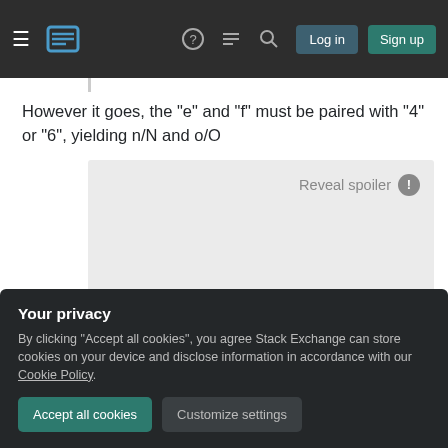Stack Exchange navigation bar with hamburger menu, logo, help, chat, search icons, Log in and Sign up buttons
However it goes, the "e" and "f" must be paired with "4" or "6", yielding n/N and o/O
[Figure (other): Spoiler box with 'Reveal spoiler' button and exclamation icon, content hidden]
Your privacy
By clicking "Accept all cookies", you agree Stack Exchange can store cookies on your device and disclose information in accordance with our Cookie Policy.
Accept all cookies
Customize settings